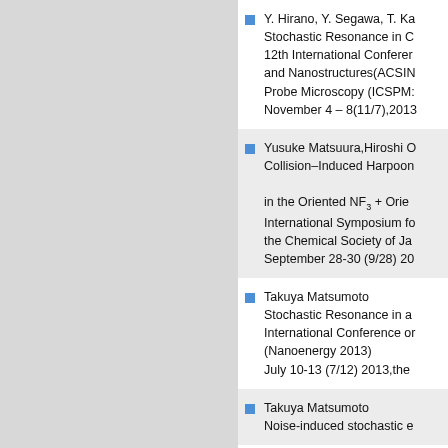Y. Hirano, Y. Segawa, T. Ka... Stochastic Resonance in C... 12th International Conferen... and Nanostructures(ACSIN... Probe Microscopy (ICSPM... November 4 – 8(11/7),2013...
Yusuke Matsuura,Hiroshi O... Collision–Induced Harpoon... in the Oriented NF3 + Orien... International Symposium fo... the Chemical Society of Ja... September 28-30 (9/28) 20...
Takuya Matsumoto Stochastic Resonance in a... International Conference on... (Nanoenergy 2013) July 10-13 (7/12) 2013,the...
Takuya Matsumoto Noise-induced stochastic e...